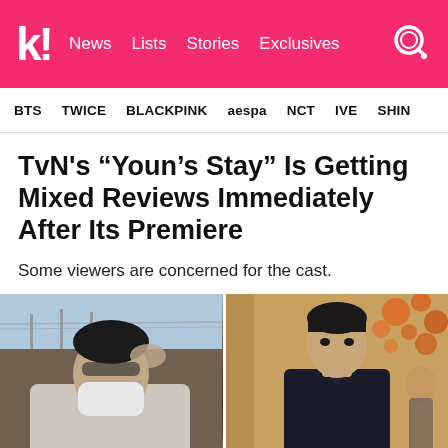k! News Lists Stories Exclusives
BTS TWICE BLACKPINK aespa NCT IVE SHIN...
TvN's “Youn’s Stay” Is Getting Mixed Reviews Immediately After Its Premiere
Some viewers are concerned for the cast.
[Figure (photo): Two side-by-side photos: left shows a person wearing a face mask outdoors with a bridge in the background; right shows a young man in a dark athletic shirt standing indoors with decorative orange/red background.]